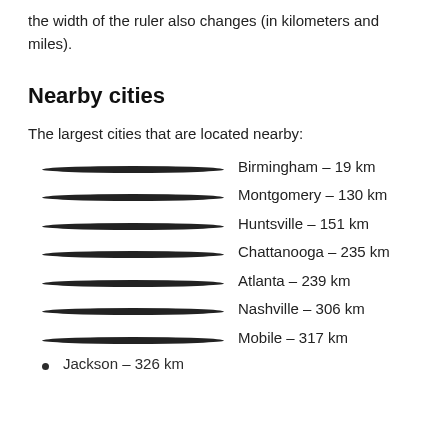the width of the ruler also changes (in kilometers and miles).
Nearby cities
The largest cities that are located nearby:
Birmingham – 19 km
Montgomery – 130 km
Huntsville – 151 km
Chattanooga – 235 km
Atlanta – 239 km
Nashville – 306 km
Mobile – 317 km
Jackson – 326 km